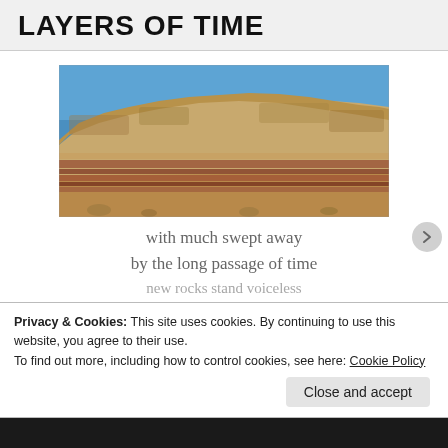LAYERS OF TIME
[Figure (photo): Photo of a rocky cliff face showing distinct horizontal sedimentary rock layers (strata) with reddish-brown bands visible in the lower portion, under a clear blue sky.]
with much swept away
by the long passage of time
new rocks stand voiceless
Privacy & Cookies: This site uses cookies. By continuing to use this website, you agree to their use.
To find out more, including how to control cookies, see here: Cookie Policy
Close and accept